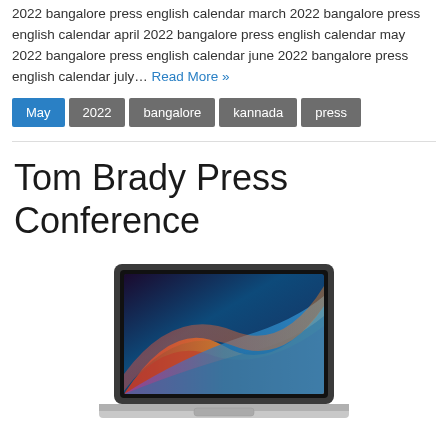2022 bangalore press english calendar march 2022 bangalore press english calendar april 2022 bangalore press english calendar may 2022 bangalore press english calendar june 2022 bangalore press english calendar july… Read More »
May
2022
bangalore
kannada
press
Tom Brady Press Conference
[Figure (photo): MacBook laptop with colorful macOS Big Sur wallpaper showing wave design in red, orange, blue and purple colors, viewed from slightly above]